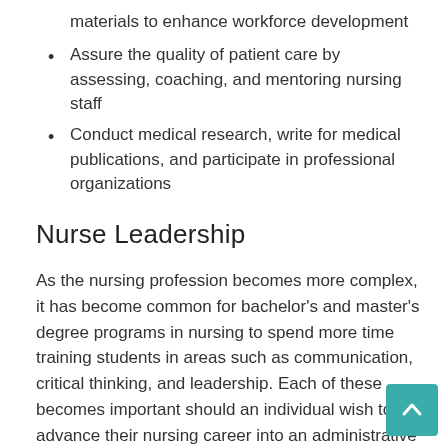materials to enhance workforce development
Assure the quality of patient care by assessing, coaching, and mentoring nursing staff
Conduct medical research, write for medical publications, and participate in professional organizations
Nurse Leadership
As the nursing profession becomes more complex, it has become common for bachelor's and master's degree programs in nursing to spend more time training students in areas such as communication, critical thinking, and leadership. Each of these becomes important should an individual wish to advance their nursing career into an administrative or managerial position. While a nurse leader may not necessarily have a formal management role, he/she is looked upon as someone who has good interpersonal and risk management skills. Closely related subjects include nurse administration and nurse management, for which nurse leaders may often times be ready to advance into quickly.